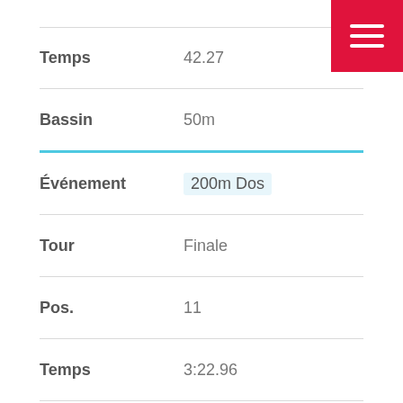| Field | Value |
| --- | --- |
| Temps | 42.27 |
| Bassin | 50m |
| Événement | 200m Dos |
| Tour | Finale |
| Pos. | 11 |
| Temps | 3:22.96 |
| Bassin | 50m |
| Événement | 100m Brasse |
| Tour | Finale |